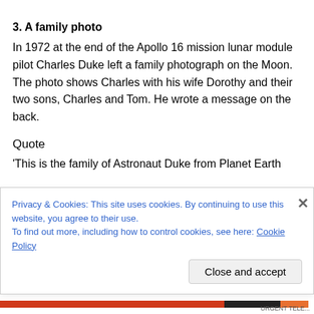3. A family photo
In 1972 at the end of the Apollo 16 mission lunar module pilot Charles Duke left a family photograph on the Moon. The photo shows Charles with his wife Dorothy and their two sons, Charles and Tom. He wrote a message on the back.
Quote
'This is the family of Astronaut Duke from Planet Earth
Privacy & Cookies: This site uses cookies. By continuing to use this website, you agree to their use.
To find out more, including how to control cookies, see here: Cookie Policy
Close and accept